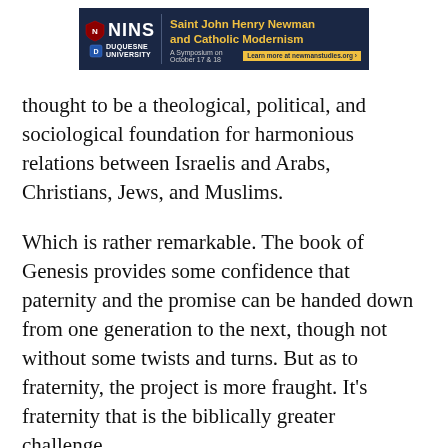[Figure (other): Advertisement banner for NINS / Duquesne University symposium: 'Saint John Henry Newman and Catholic Modernism — A Symposium on October 17 & 18. Learn more at newmanstudies.org']
thought to be a theological, political, and sociological foundation for harmonious relations between Israelis and Arabs, Christians, Jews, and Muslims.
Which is rather remarkable. The book of Genesis provides some confidence that paternity and the promise can be handed down from one generation to the next, though not without some twists and turns. But as to fraternity, the project is more fraught. It's fraternity that is the biblically greater challenge.
The late Rabbi Jonathan Sacks once pointed out to me that a deeper reading of Genesis reveals the problem of fraternity at the forefront—and offers hope that the